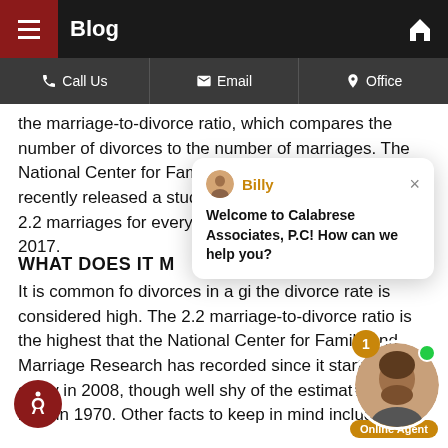Blog
Call Us  Email  Office
the marriage-to-divorce ratio, which compares the number of divorces to the number of marriages. The National Center for Family and Marriage Research recently released a study that states that there were 2.2 marriages for every one divorce in the U.S. in 2017.
WHAT DOES IT M
It is common fo divorces in a gi the divorce rate is considered high. The 2.2 marriage-to-divorce ratio is the highest that the National Center for Family and Marriage Research has recorded since it started the study in 2008, though well shy of the estimated 3.0 ratio in 1970. Other facts to keep in mind include:
[Figure (screenshot): Chat popup from Billy at Calabrese Associates, P.C saying: Welcome to Calabrese Associates, P.C! How can we help you?]
[Figure (photo): Online agent photo with badge showing 1 unread message and Online Agent label]